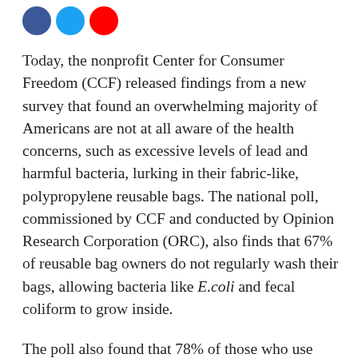[Figure (other): Three social media icon circles: Facebook (blue), Twitter (blue), YouTube (red)]
Today, the nonprofit Center for Consumer Freedom (CCF) released findings from a new survey that found an overwhelming majority of Americans are not at all aware of the health concerns, such as excessive levels of lead and harmful bacteria, lurking in their fabric-like, polypropylene reusable bags. The national poll, commissioned by CCF and conducted by Opinion Research Corporation (ORC), also finds that 67% of reusable bag owners do not regularly wash their bags, allowing bacteria like E.coli and fecal coliform to grow inside.
The poll also found that 78% of those who use reusable bags on a regular basis, do so because they believe “they are better for the environment.” However, new findings from the Environment Agency of England show a reusable bag has to be